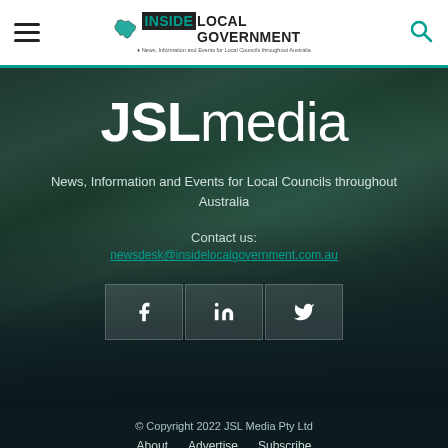INSIDE LOCAL GOVERNMENT – News, Information and Events for Local Councils throughout Australia
JSLmedia
News, Information and Events for Local Councils throughout Australia
Contact us:
newsdesk@insidelocalgovernment.com.au
[Figure (infographic): Social media icons: Facebook (f), LinkedIn (in), Twitter bird icon, shown as buttons]
© Copyright 2022 JSL Media Pty Ltd
About  Advertise  Subscribe